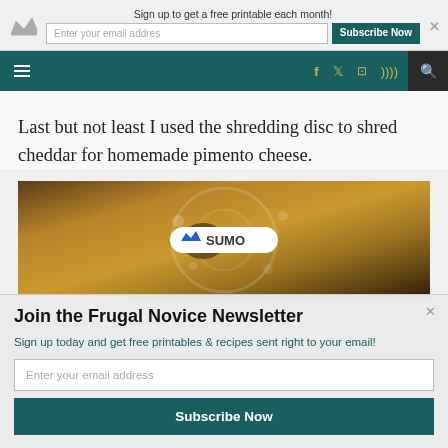Sign up to get a free printable each month!
[Figure (screenshot): Website navigation bar with hamburger menu, social icons (Facebook, Twitter, Instagram, RSS), and search icon on teal background]
Last but not least I used the shredding disc to shred cheddar for homemade pimento cheese.
[Figure (photo): Close-up photo of a food processor shredding disc in use, with a Sumo badge overlay in the center]
Join the Frugal Novice Newsletter
Sign up today and get free printables & recipes sent right to your email!